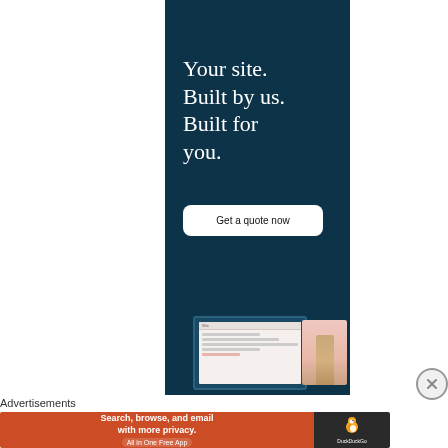[Figure (illustration): Advertisement banner with dark teal background. Large serif white text reads 'Your site. Built by us. Built for you.' with a white CTA button saying 'Get a quote now'. Bottom shows a laptop mockup with website screenshot and a fashion photo of a person in a beige dress on pink background.]
[Figure (illustration): Close/dismiss button - circle with X symbol]
Advertisements
[Figure (illustration): DuckDuckGo advertisement banner. Orange-red left section with white bold text 'Search, browse, and email with more privacy.' and pill-shaped text 'All in One Free App'. Dark right section with DuckDuckGo duck logo and 'DuckDuckGo' brand name.]